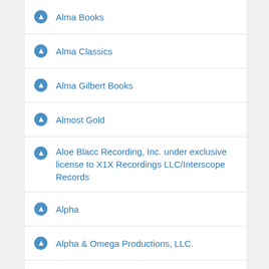Alma Books
Alma Classics
Alma Gilbert Books
Almost Gold
Aloe Blacc Recording, Inc. under exclusive license to X1X Recordings LLC/Interscope Records
Alpha
Alpha & Omega Productions, LLC.
Alpha Books
Alpha Video
Alpha, a member of Pengin Random House LLC
Alpha, a member of Penguin Group USA Inc.